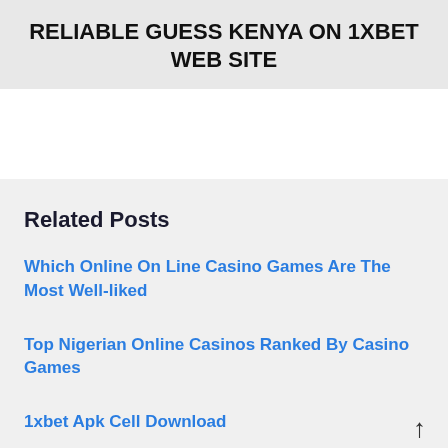RELIABLE GUESS KENYA ON 1XBET WEB SITE
Related Posts
Which Online On Line Casino Games Are The Most Well-liked
Top Nigerian Online Casinos Ranked By Casino Games
1xbet Apk Cell Download